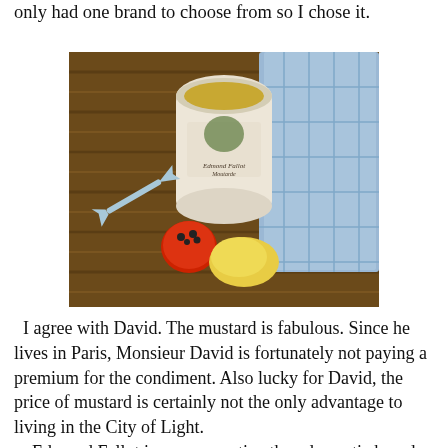only had one brand to choose from so I chose it.
[Figure (photo): A jar of Edmond Fallot mustard on a wooden cutting board, with an arrow-shaped spreader, a small tomato with seeds, a dollop of yellow mustard, and a blue plaid cloth napkin in the background.]
I agree with David. The mustard is fabulous. Since he lives in Paris, Monsieur David is fortunately not paying a premium for the condiment. Also lucky for David, the price of mustard is certainly not the only advantage to living in the City of Light.
   Edmond Fallot is more assertive than domestic brands, almost as if the imported mustard has a bit of horseradish in it for extra bite. All my salad dressings thus far taste noticeably better with the imported mustard. I swear that I'm not trying to make myself feel better. Believe me, it